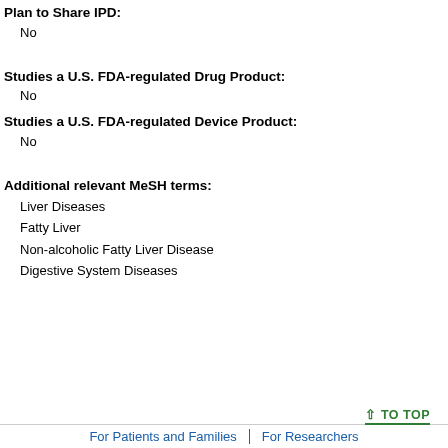Plan to Share IPD:
No
Studies a U.S. FDA-regulated Drug Product:
No
Studies a U.S. FDA-regulated Device Product:
No
Additional relevant MeSH terms:
Liver Diseases
Fatty Liver
Non-alcoholic Fatty Liver Disease
Digestive System Diseases
↑ TO TOP
For Patients and Families | For Researchers